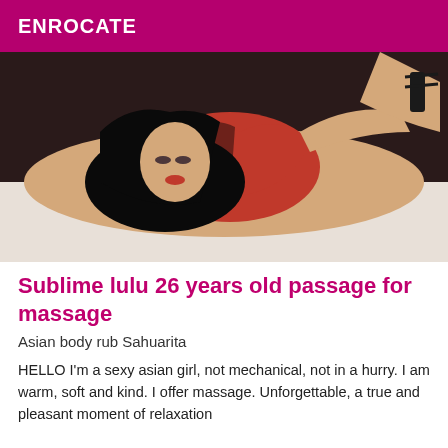ENROCATE
[Figure (photo): Woman in red dress lying on a massage table]
Sublime lulu 26 years old passage for massage
Asian body rub Sahuarita
HELLO I'm a sexy asian girl, not mechanical, not in a hurry. I am warm, soft and kind. I offer massage. Unforgettable, a true and pleasant moment of relaxation